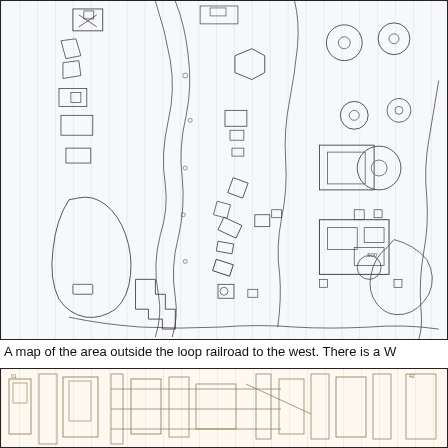[Figure (map): A pencil-drawn map on blue-lined graph paper showing building footprints, contour lines, and various structures in an area outside a loop railroad to the west. Includes small rectangular building shapes, curved contour lines, circular elements, and other schematic map features.]
A map of the area outside the loop railroad to the west. There is a W
[Figure (map): A partial view of another map or architectural drawing on tan/cream graph paper showing building outlines and structural elements.]